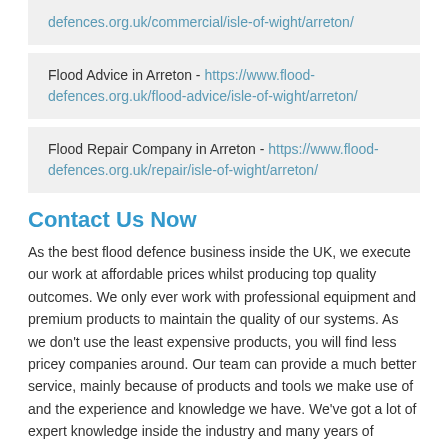defences.org.uk/commercial/isle-of-wight/arreton/
Flood Advice in Arreton - https://www.flood-defences.org.uk/flood-advice/isle-of-wight/arreton/
Flood Repair Company in Arreton - https://www.flood-defences.org.uk/repair/isle-of-wight/arreton/
Contact Us Now
As the best flood defence business inside the UK, we execute our work at affordable prices whilst producing top quality outcomes. We only ever work with professional equipment and premium products to maintain the quality of our systems. As we don't use the least expensive products, you will find less pricey companies around. Our team can provide a much better service, mainly because of products and tools we make use of and the experience and knowledge we have. We've got a lot of expert knowledge inside the industry and many years of experience, meaning that you can rest and know that the installations will be done correctly.